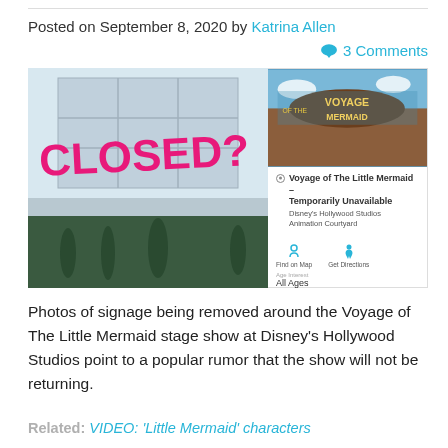Posted on September 8, 2020 by Katrina Allen
3 Comments
[Figure (photo): Left: Photo of a building facade with a large pink/magenta text overlay reading 'CLOSED?' with underwater character sculptures visible below. Right: Screenshot of a Disney app showing 'Voyage of The Little Mermaid - Temporarily Unavailable' at Disney's Hollywood Studios Animation Courtyard, with Find on Map and Get Directions icons, and 'All Ages' listed.]
Photos of signage being removed around the Voyage of The Little Mermaid stage show at Disney's Hollywood Studios point to a popular rumor that the show will not be returning.
Related: VIDEO: 'Little Mermaid' characters